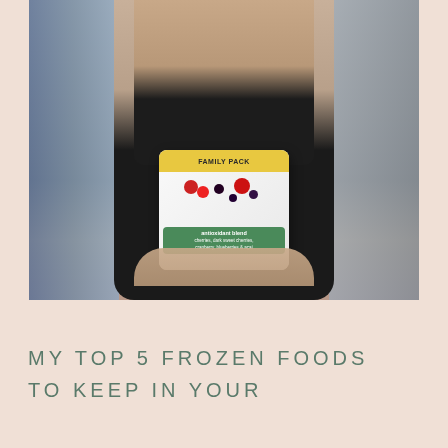[Figure (photo): A woman in a black tank top standing in a grocery store frozen foods aisle, holding up a large family pack bag of antioxidant blend frozen berries (cherries, blueberries, and other berries). She is smiling and wearing earbuds. The store shelves with colorful frozen food packages are visible behind her.]
MY TOP 5 FROZEN FOODS TO KEEP IN YOUR